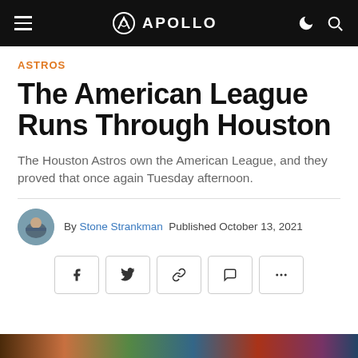APOLLO
ASTROS
The American League Runs Through Houston
The Houston Astros own the American League, and they proved that once again Tuesday afternoon.
By Stone Strankman  Published October 13, 2021
[Figure (other): Social share buttons: Facebook, Twitter, link, comment, more (ellipsis)]
[Figure (photo): Colorful photo strip at bottom of page]